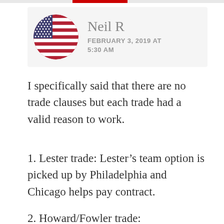[Figure (illustration): User comment header with circular US flag avatar on left, username 'Neil R' in gray and date 'FEBRUARY 3, 2019 AT 5:30 AM' on right, on a light gray background]
I specifically said that there are no trade clauses but each trade had a valid reason to work.
1. Lester trade: Lester’s team option is picked up by Philadelphia and Chicago helps pay contract.
2. Howard/Fowler trade: